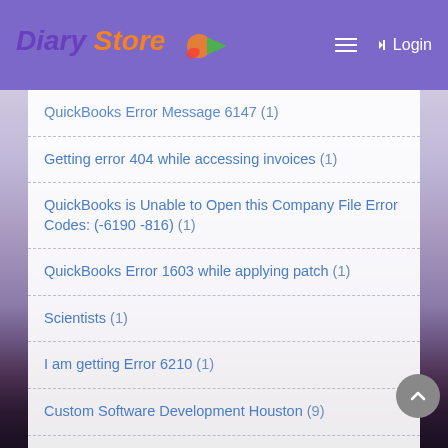Diary Store — Login
QuickBooks Error Message 6147 (1)
Getting error 404 while accessing invoices (1)
QuickBooks is Unable to Open this Company File Error Codes: (-6190 -816) (1)
QuickBooks Error 1603 while applying patch (1)
Scientists (1)
I am getting Error 6210 (1)
Custom Software Development Houston (9)
quickbooks errpr 14106 (1)
sbcglobal incoming mail server (1)
Indian Successful CEOs (1)
Intuit QB error code message 12029 (1)
Error: Cannot communicate with the company file